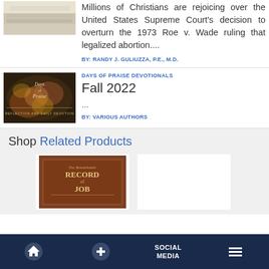[Figure (photo): Thumbnail image of white/cream fabric or bedding]
Millions of Christians are rejoicing over the United States Supreme Court's decision to overturn the 1973 Roe v. Wade ruling that legalized abortion....
BY: RANDY J. GULIUZZA, P.E., M.D.
[Figure (photo): Days of Praise devotional book cover thumbnail]
DAYS OF PRAISE DEVOTIONALS
Fall 2022
...
BY:  VARIOUS AUTHORS
Shop Related Products
[Figure (photo): Book cover: The Remarkable Record of Job]
[Figure (photo): Second product image placeholder (white)]
Home  +  SOCIAL MEDIA  Menu